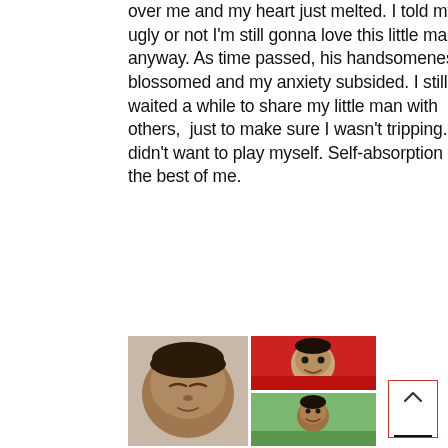over me and my heart just melted. I told myself ugly or not I'm still gonna love this little man anyway. As time passed, his handsomeness blossomed and my anxiety subsided. I still waited a while to share my little man with others,  just to make sure I wasn't tripping. I didn't want to play myself. Self-absorption got the best of me.
[Figure (photo): Grid of three baby/child photos: large newborn baby face on left, smiling infant in red car seat on top right, young toddler outdoors on bottom right]